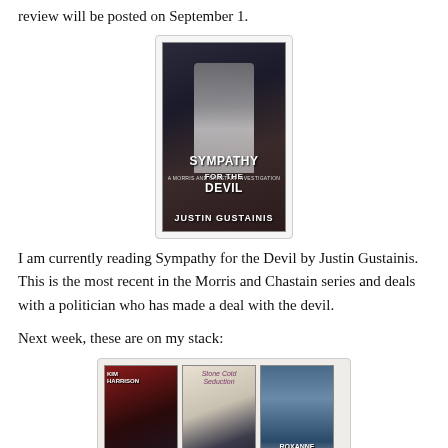review will be posted on September 1.
[Figure (photo): Book cover of 'Sympathy for the Devil' by Justin Gustainis — dark urban fantasy cover with figures and a woman in white dress]
I am currently reading Sympathy for the Devil by Justin Gustainis. This is the most recent in the Morris and Chastain series and deals with a politician who has made a deal with the devil.
Next week, these are on my stack:
[Figure (photo): Three book covers side by side: 'Blood' by Kim Harrison, 'Stone Cold' (partial title visible), and a book by Roxanne St. Claire]